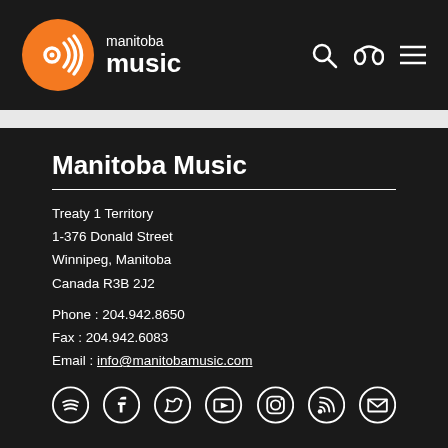manitoba music
Manitoba Music
Treaty 1 Territory
1-376 Donald Street
Winnipeg, Manitoba
Canada R3B 2J2
Phone : 204.942.8650
Fax : 204.942.6083
Email : info@manitobamusic.com
[Figure (infographic): Social media icons row: Spotify, Facebook, Twitter, YouTube, Instagram, RSS, Email]